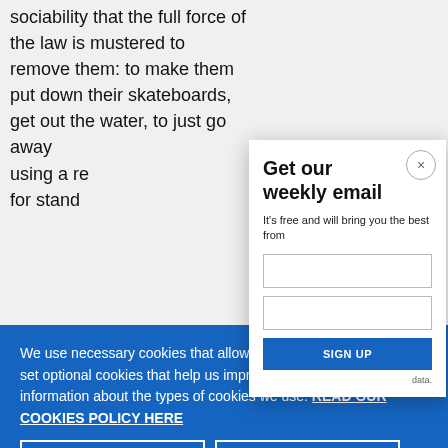sociability that the full force of the law is mustered to remove them: to make them put down their skateboards, get out the water, to just go away using a remedy for standing
Get our weekly email
It's free and will bring you the best from
We use necessary cookies that allow our site to work. We also set optional cookies that help us improve our website. For more information about the types of cookies we use. READ OUR COOKIES POLICY HERE
COOKIE SETTINGS
ALLOW ALL COOKIES
data.